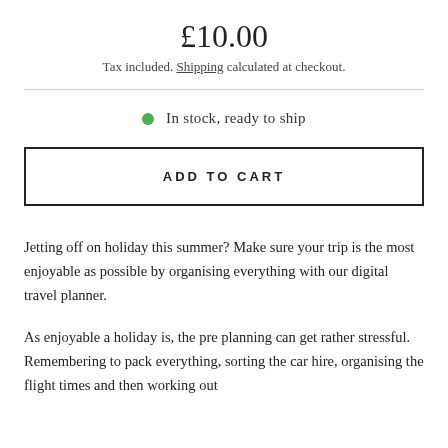£10.00
Tax included. Shipping calculated at checkout.
In stock, ready to ship
ADD TO CART
Jetting off on holiday this summer? Make sure your trip is the most enjoyable as possible by organising everything with our digital travel planner.
As enjoyable a holiday is, the pre planning can get rather stressful. Remembering to pack everything, sorting the car hire, organising the flight times and then working out